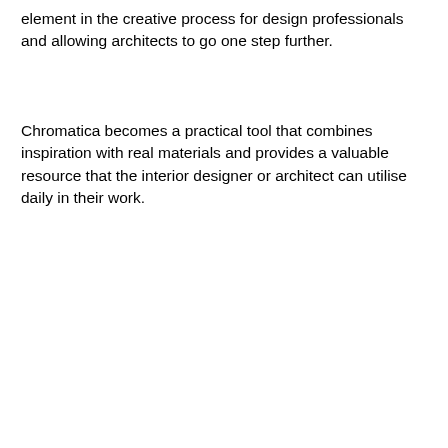element in the creative process for design professionals and allowing architects to go one step further.
Chromatica becomes a practical tool that combines inspiration with real materials and provides a valuable resource that the interior designer or architect can utilise daily in their work.